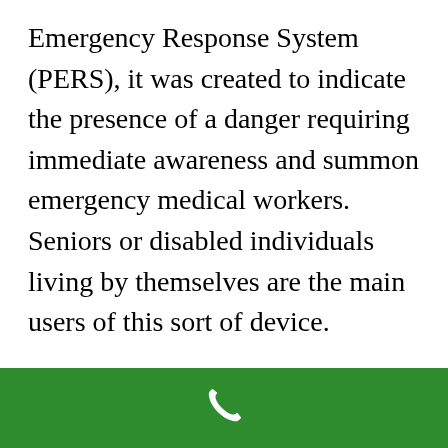Emergency Response System (PERS), it was created to indicate the presence of a danger requiring immediate awareness and summon emergency medical workers. Seniors or disabled individuals living by themselves are the main users of this sort of device.
Family mishaps are common, however, there are instances where they can be fatal. These are mainly cases where victims may have made it if assistance had actually
[Figure (illustration): Green bar at the bottom of the screen with a white phone/call icon centered in it, resembling a mobile phone call button.]